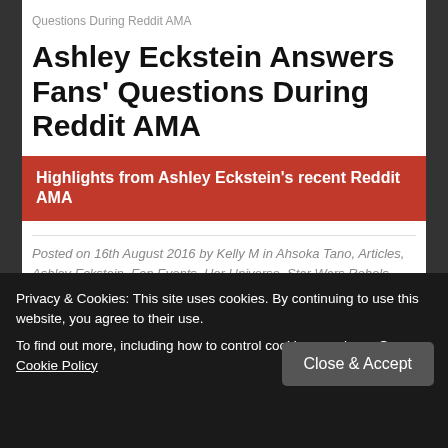Questions During Reddit AMA
Ashley Eckstein Answers Fans' Questions During Reddit AMA
Highlights from Ashley Eckstein's recent Reddit AMA
Posted on 16th August 2016 by Kelly M in Ahsoka Tano, Articles, Ashley Eckstein, Fan Events, Her Universe, Star Wars Rebels, Star Wars: The Clone Wars // 2 Comments
She may have been rushed off her feet promoting the amazing Her Universe Fashion Show making headlines in
Privacy & Cookies: This site uses cookies. By continuing to use this website, you agree to their use. To find out more, including how to control cookies, see here: Our Cookie Policy
Close & Accept